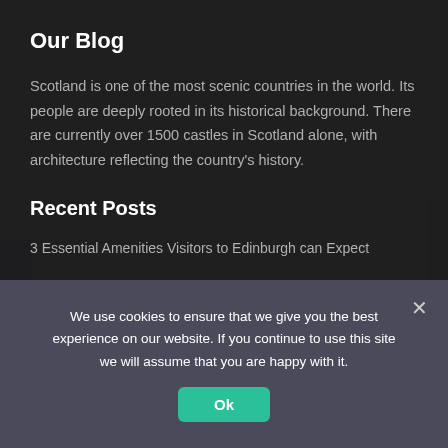Our Blog
Scotland is one of the most scenic countries in the world. Its people are deeply rooted in its historical background. There are currently over 1500 castles in Scotland alone, with architecture reflecting the country's history.
Recent Posts
3 Essential Amenities Visitors to Edinburgh can Expect
We use cookies to ensure that we give you the best experience on our website. If you continue to use this site we will assume that you are happy with it.